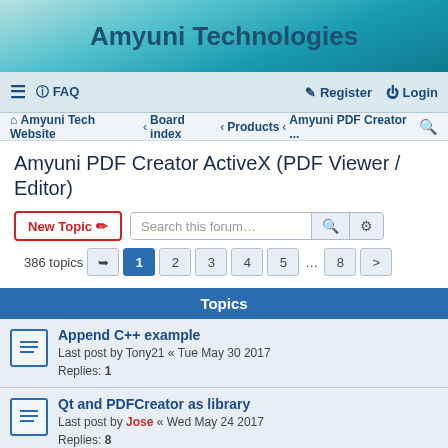Amyuni Technologies
≡  FAQ    Register  Login
Amyuni Tech Website · Board index · Products · Amyuni PDF Creator ...
Amyuni PDF Creator ActiveX (PDF Viewer / Editor)
New Topic  Search this forum…
386 topics  1 2 3 4 5 ... 8 >
Topics
Append C++ example
Last post by Tony21 « Tue May 30 2017
Replies: 1
Qt and PDFCreator as library
Last post by Jose « Wed May 24 2017
Replies: 8
Template text on every page
Last post by Jose « Tue May 23 2017
Replies: 1
Append PDF/A files
Last post by Jose « Wed Aug 17 2016